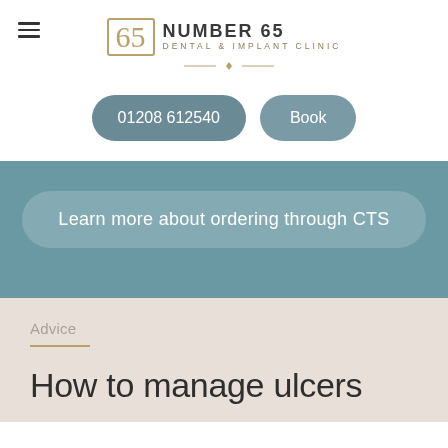[Figure (logo): Number 65 Dental & Implant Clinic logo with golden number 65 in a box, clinic name in bold uppercase, and a decorative divider]
01208 612540
Book
Learn more about ordering through CTS
Advice
How to manage ulcers